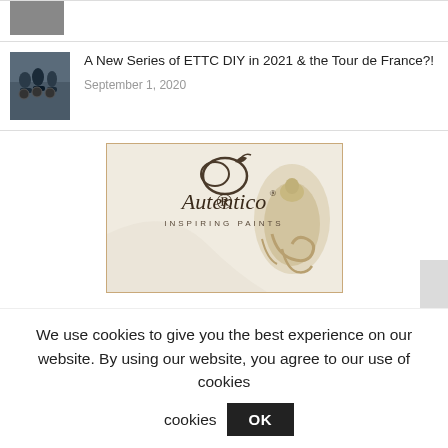[Figure (photo): Partial view of a top list item with a small thumbnail image (partially cropped at top)]
A New Series of ETTC DIY in 2021 & the Tour de France?!
September 1, 2020
[Figure (logo): Autentico Inspiring Paints advertisement banner with logo and decorative ornamental sculpture on beige/cream background]
We use cookies to give you the best experience on our website. By using our website, you agree to our use of cookies
OK